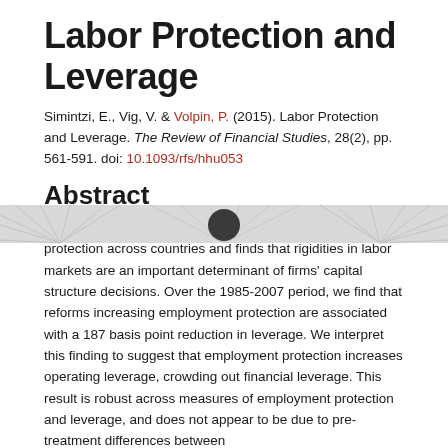[Figure (illustration): Decorative header graphic with geometric/radial pattern in gray tones, with a dark circular element near the center top.]
Labor Protection and Leverage
Simintzi, E., Vig, V. & Volpin, P. (2015). Labor Protection and Leverage. The Review of Financial Studies, 28(2), pp. 561-591. doi: 10.1093/rfs/hhu053
Abstract
This paper exploits inter-temporal variations in employment protection across countries and finds that rigidities in labor markets are an important determinant of firms' capital structure decisions. Over the 1985-2007 period, we find that reforms increasing employment protection are associated with a 187 basis point reduction in leverage. We interpret this finding to suggest that employment protection increases operating leverage, crowding out financial leverage. This result is robust across measures of employment protection and leverage, and does not appear to be due to pre-treatment differences between